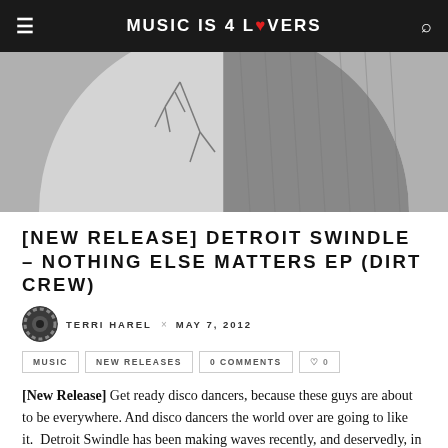MUSIC IS 4 LOVERS
[Figure (photo): Black and white album artwork showing close-up split image — left side shows tree branches/twigs on grey background, right side shows grey textured fabric or clothing. The images form a partial circle composition.]
[NEW RELEASE] DETROIT SWINDLE – NOTHING ELSE MATTERS EP (DIRT CREW)
TERRI HAREL × MAY 7, 2012
MUSIC  NEW RELEASES  0 COMMENTS  0
[New Release] Get ready disco dancers, because these guys are about to be everywhere. And disco dancers the world over are going to like it.  Detroit Swindle has been making waves recently, and deservedly, in both DJing and production.  This latest release, out today on Dirt Crew, is an upbeat and feel good dance